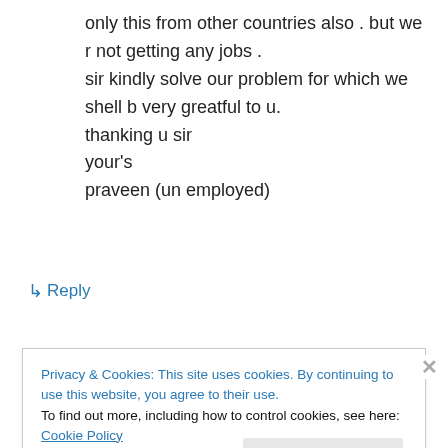only this from other countries also . but we r not getting any jobs .
sir kindly solve our problem for which we shell b very greatful to u.
thanking u sir
your's
praveen (un employed)
↳ Reply
Privacy & Cookies: This site uses cookies. By continuing to use this website, you agree to their use.
To find out more, including how to control cookies, see here: Cookie Policy
Close and accept